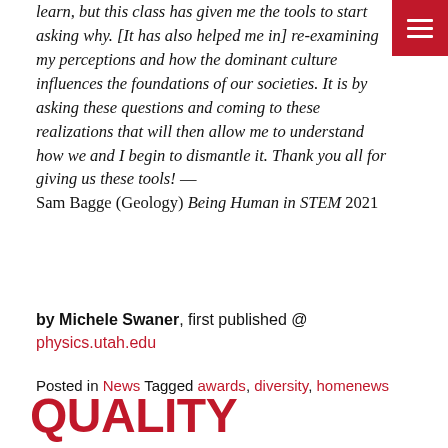learn, but this class has given me the tools to start asking why. [It has also helped me in] re-examining my perceptions and how the dominant culture influences the foundations of our societies. It is by asking these questions and coming to these realizations that will then allow me to understand how we and I begin to dismantle it. Thank you all for giving us these tools! — Sam Bagge (Geology) Being Human in STEM 2021
by Michele Swaner, first published @ physics.utah.edu
Posted in News Tagged awards, diversity, homenews
QUALITY ASSOCIATE INTERN